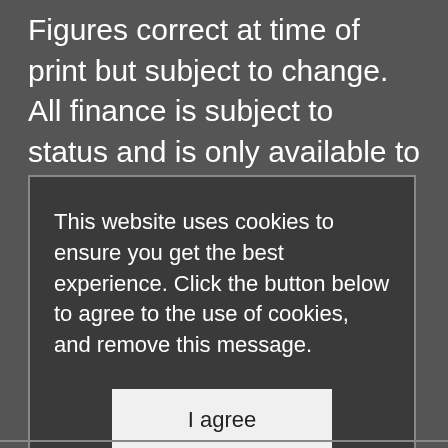Figures correct at time of print but subject to change. All finance is subject to status and is only available to applicants aged 18 and over. The interest rate you will get is based on your own credit rating. Finance provided by Black Horse Finance, St William House, Tresillian Terrace, Cardiff, CF10 5BH or MotoNovo Finance, One Central Square, Cardiff, CF10 1FS. We may receive a commission from the finance provider for introducing you to them. We are not able to make any charge before entering the Credit Agreement that offsets this. This commission is paid to MotoFinance Ltd by the lender. Please speak to a member of our sales team before entering into the credit agreement.
This website uses cookies to ensure you get the best experience. Click the button below to agree to the use of cookies, and remove this message.
I agree